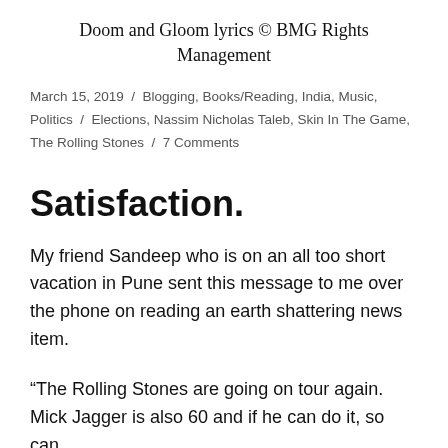Doom and Gloom lyrics © BMG Rights Management
March 15, 2019 / Blogging, Books/Reading, India, Music, Politics / Elections, Nassim Nicholas Taleb, Skin In The Game, The Rolling Stones / 7 Comments
Satisfaction.
My friend Sandeep who is on an all too short vacation in Pune sent this message to me over the phone on reading an earth shattering news item.
“The Rolling Stones are going on tour again. Mick Jagger is also 60 and if he can do it, so can